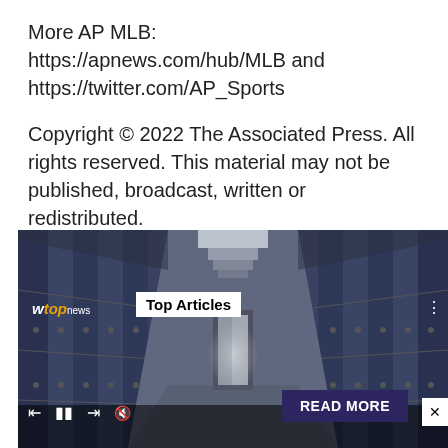More AP MLB: https://apnews.com/hub/MLB and https://twitter.com/AP_Sports
Copyright © 2022 The Associated Press. All rights reserved. This material may not be published, broadcast, written or redistributed.
[Figure (photo): Screenshot of a video player showing a school hallway with blue lockers on both sides, a WTOP news logo in the top-left, a 'Top Articles' badge, media playback controls at the bottom-left, a 'READ MORE' button at the bottom-right, and a close (X) button.]